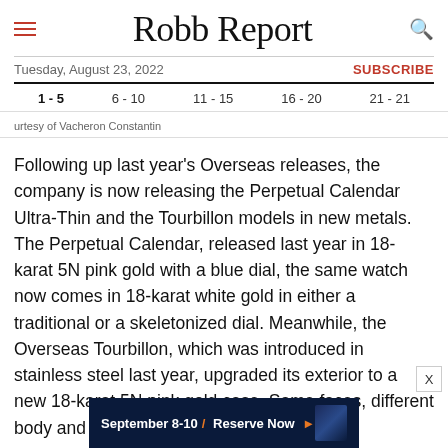Robb Report
Tuesday, August 23, 2022 | SUBSCRIBE
1 - 5   6 - 10   11 - 15   16 - 20   21 - 21
urtesy of Vacheron Constantin
Following up last year's Overseas releases, the company is now releasing the Perpetual Calendar Ultra-Thin and the Tourbillon models in new metals. The Perpetual Calendar, released last year in 18-karat 5N pink gold with a blue dial, the same watch now comes in 18-karat white gold in either a traditional or a skeletonized dial. Meanwhile, the Overseas Tourbillon, which was introduced in stainless steel last year, upgraded its exterior to a new 18-karat 5N pink gold case. Same faces, different body and that's about it.
[Figure (other): Advertisement banner: September 8-10 / Reserve Now with city skyline image]